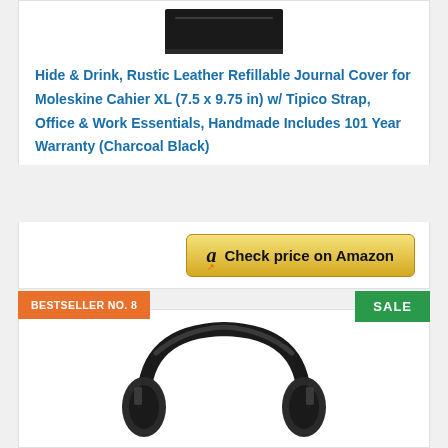[Figure (photo): Partial view of a dark/black leather journal cover product at the top of the card]
Hide & Drink, Rustic Leather Refillable Journal Cover for Moleskine Cahier XL (7.5 x 9.75 in) w/ Tipico Strap, Office & Work Essentials, Handmade Includes 101 Year Warranty (Charcoal Black)
[Figure (other): Amazon 'Check price on Amazon' button with Amazon logo]
BESTSELLER NO. 8
SALE
[Figure (photo): Partial view of black over-ear headphones product]